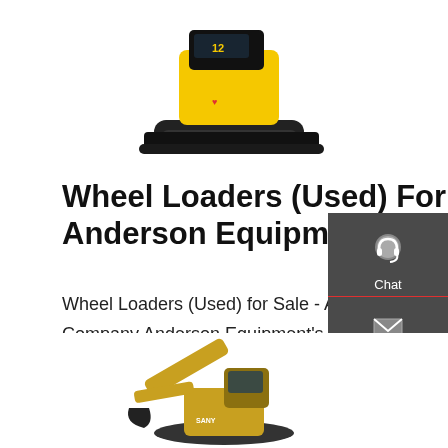[Figure (photo): Yellow and black mini excavator/track loader viewed from above, partially visible at top of page]
Wheel Loaders (Used) For Sale - Anderson Equipment Company
Wheel Loaders (Used) for Sale - Anderson Equipment Company Anderson Equipment's inventory of Used Equipment includes machines from Caterpillar, John Deere, Volvo, Kobelco and More!
[Figure (other): Red button labeled 'Get a quote']
[Figure (other): Dark gray sidebar panel with Chat (headset icon), Email (envelope icon), and Contact (speech bubble icon) options]
[Figure (photo): Yellow excavator/construction machine partially visible at bottom of page]